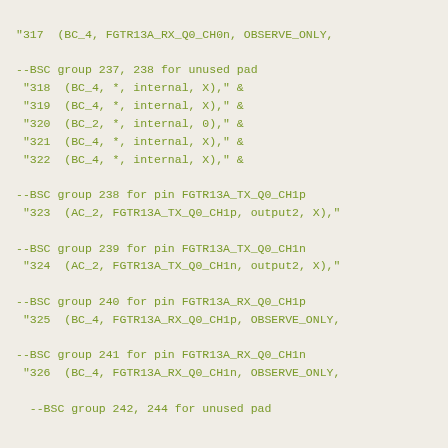"317  (BC_4, FGTR13A_RX_Q0_CH0n, OBSERVE_ONLY,
--BSC group 237, 238 for unused pad
 "318  (BC_4, *, internal, X)," &
 "319  (BC_4, *, internal, X)," &
 "320  (BC_2, *, internal, 0)," &
 "321  (BC_4, *, internal, X)," &
 "322  (BC_4, *, internal, X)," &
--BSC group 238 for pin FGTR13A_TX_Q0_CH1p
 "323  (AC_2, FGTR13A_TX_Q0_CH1p, output2, X),"
--BSC group 239 for pin FGTR13A_TX_Q0_CH1n
 "324  (AC_2, FGTR13A_TX_Q0_CH1n, output2, X),"
--BSC group 240 for pin FGTR13A_RX_Q0_CH1p
 "325  (BC_4, FGTR13A_RX_Q0_CH1p, OBSERVE_ONLY,
--BSC group 241 for pin FGTR13A_RX_Q0_CH1n
 "326  (BC_4, FGTR13A_RX_Q0_CH1n, OBSERVE_ONLY,
--BSC group 242, 244 for unused pad